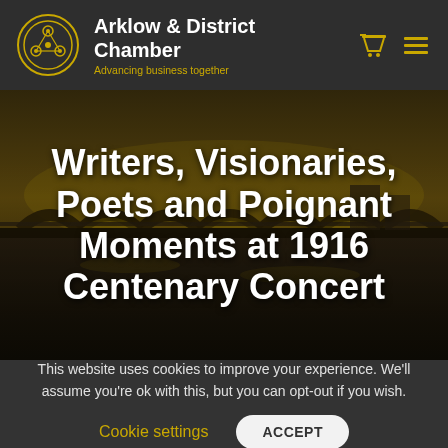Arklow & District Chamber — Advancing business together
Writers, Visionaries, Poets and Poignant Moments at 1916 Centenary Concert
This website uses cookies to improve your experience. We'll assume you're ok with this, but you can opt-out if you wish.
Cookie settings   ACCEPT